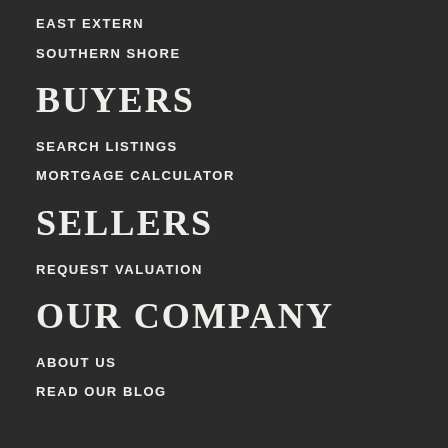EAST EXTERN
SOUTHERN SHORE
BUYERS
SEARCH LISTINGS
MORTGAGE CALCULATOR
SELLERS
REQUEST VALUATION
OUR COMPANY
ABOUT US
READ OUR BLOG